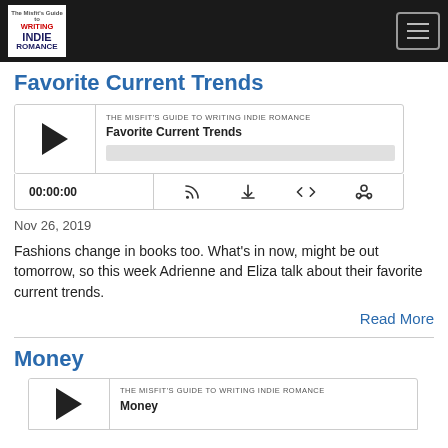THE MISFIT'S GUIDE TO WRITING INDIE ROMANCE — navigation bar
Favorite Current Trends
[Figure (other): Podcast audio player widget for episode 'Favorite Current Trends'. Shows play button, episode title, progress bar, time counter 00:00:00, and control icons for subscribe, download, embed, and share.]
Nov 26, 2019
Fashions change in books too. What's in now, might be out tomorrow, so this week Adrienne and Eliza talk about their favorite current trends.
Read More
Money
[Figure (other): Podcast audio player widget (partial) for episode 'Money'. Shows play button, subtitle THE MISFIT'S GUIDE TO WRITING INDIE ROMANCE, and episode title Money.]